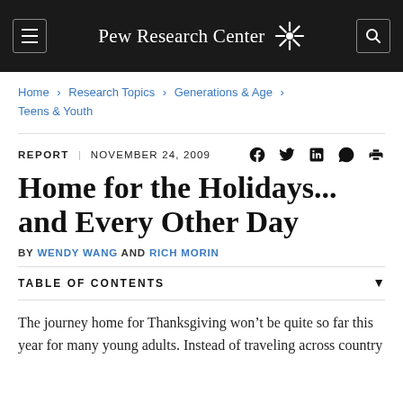Pew Research Center
Home > Research Topics > Generations & Age > Teens & Youth
REPORT | NOVEMBER 24, 2009
Home for the Holidays... and Every Other Day
BY WENDY WANG AND RICH MORIN
TABLE OF CONTENTS
The journey home for Thanksgiving won’t be quite so far this year for many young adults. Instead of traveling across country